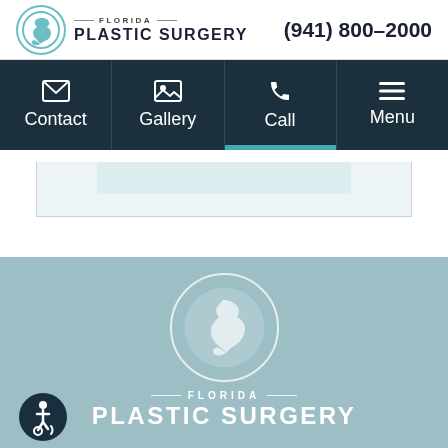Florida Plastic Surgery — (941) 800-2000
[Figure (screenshot): Navigation bar with four items: Contact (envelope icon), Gallery (photo icon), Call (phone icon), Menu (hamburger icon) on dark navy background]
[Figure (logo): Florida Plastic Surgery footer logo with Florida state silhouette in circle on teal background, with accessibility icon in bottom left]